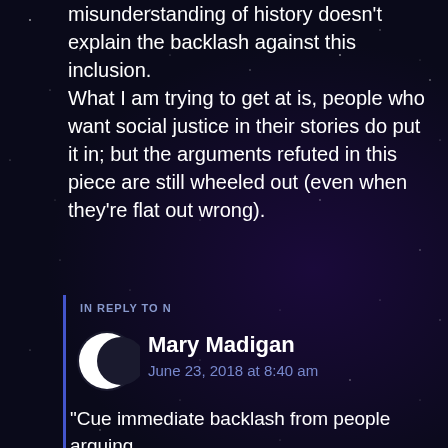misunderstanding of history doesn't explain the backlash against this inclusion. What I am trying to get at is, people who want social justice in their stories do put it in; but the arguments refuted in this piece are still wheeled out (even when they're flat out wrong).
Reply
IN REPLY TO N
Mary Madigan
June 23, 2018 at 8:40 am
“Cue immediate backlash from people arguing